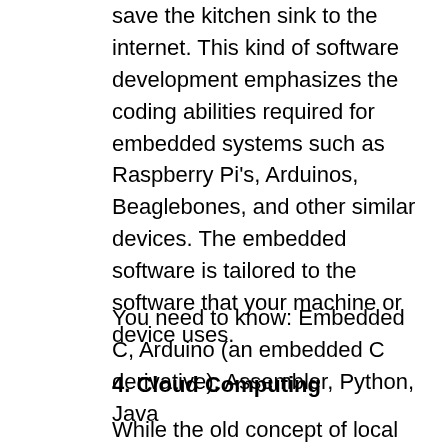save the kitchen sink to the internet. This kind of software development emphasizes the coding abilities required for embedded systems such as Raspberry Pi's, Arduinos, Beaglebones, and other similar devices. The embedded software is tailored to the software that your machine or device uses.
You need to know: Embedded C, Arduino (an embedded C derivative), Assembler, Python, Java
4. Cloud Computing
While the old concept of local file storage has persisted in some parts of